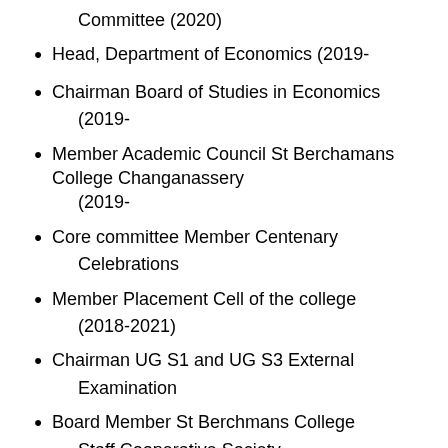Committee (2020)
Head, Department of Economics (2019-
Chairman Board of Studies in Economics (2019-
Member Academic Council St Berchamans College Changanassery (2019-
Core committee Member Centenary Celebrations
Member Placement Cell of the college (2018-2021)
Chairman UG S1 and UG S3 External Examination
Board Member St Berchmans College Staff Cooperative Society